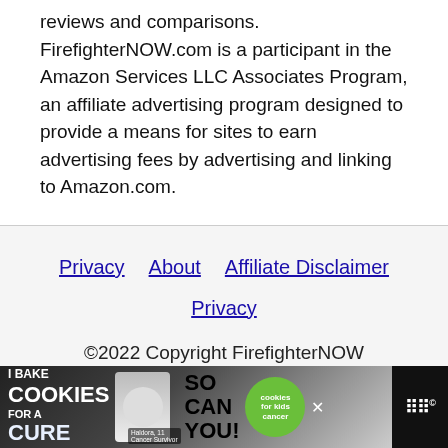reviews and comparisons. FirefighterNOW.com is a participant in the Amazon Services LLC Associates Program, an affiliate advertising program designed to provide a means for sites to earn advertising fees by advertising and linking to Amazon.com.
Privacy   About   Affiliate Disclaimer
Privacy
©2022 Copyright FirefighterNOW
Exclusive Member of Mediavine Home
[Figure (other): Advertisement banner: 'I Bake COOKIES For A CURE' featuring a girl with cookies, Haldora 11 Cancer Survivor text, 'So can you!' text, Cookies for Kids Cancer badge, and Mediavine logo]